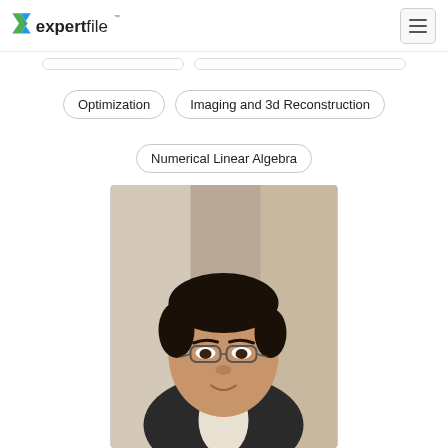expertfile
Optimization
Imaging and 3d Reconstruction
Numerical Linear Algebra
[Figure (photo): Headshot photo of an Asian male academic wearing glasses and a dark blazer, photographed indoors with a blurred background.]